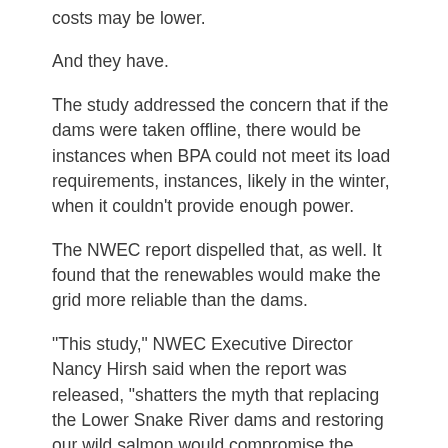costs may be lower.
And they have.
The study addressed the concern that if the dams were taken offline, there would be instances when BPA could not meet its load requirements, instances, likely in the winter, when it couldn't provide enough power.
The NWEC report dispelled that, as well. It found that the renewables would make the grid more reliable than the dams.
"This study," NWEC Executive Director Nancy Hirsh said when the report was released, "shatters the myth that replacing the Lower Snake River dams and restoring our wild salmon would compromise the reliability of our power system and cause major increases in rates and greenhouse gas emissions."
Asked about the NWEC report, BPA said it stands